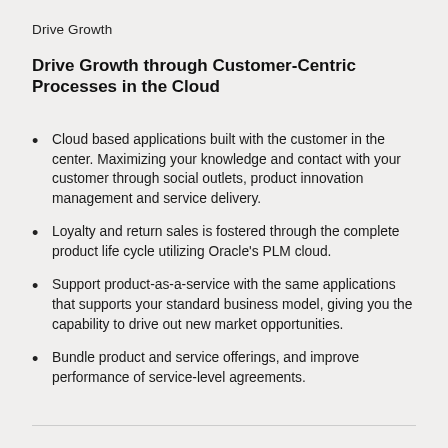Drive Growth
Drive Growth through Customer-Centric Processes in the Cloud
Cloud based applications built with the customer in the center. Maximizing your knowledge and contact with your customer through social outlets, product innovation management and service delivery.
Loyalty and return sales is fostered through the complete product life cycle utilizing Oracle's PLM cloud.
Support product-as-a-service with the same applications that supports your standard business model, giving you the capability to drive out new market opportunities.
Bundle product and service offerings, and improve performance of service-level agreements.